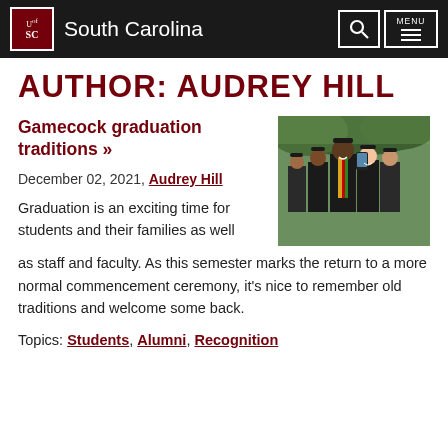South Carolina — University of South Carolina navigation header with search and menu buttons
AUTHOR: AUDREY HILL
Gamecock graduation traditions »
December 02, 2021, Audrey Hill
[Figure (photo): Group of graduates in black caps and gowns taking a selfie outdoors, smiling, one wearing a colorful kente stole]
Graduation is an exciting time for students and their families as well as staff and faculty. As this semester marks the return to a more normal commencement ceremony, it's nice to remember old traditions and welcome some back.
Topics: Students, Alumni, Recognition